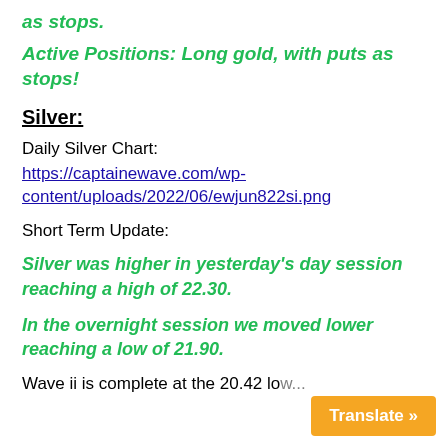as stops.
Active Positions: Long gold, with puts as stops!
Silver:
Daily Silver Chart:
https://captainewave.com/wp-content/uploads/2022/06/ewjun822si.png
Short Term Update:
Silver was higher in yesterday's day session reaching a high of 22.30.
In the overnight session we moved lower reaching a low of 21.90.
Wave ii is complete at the 20.42 low...